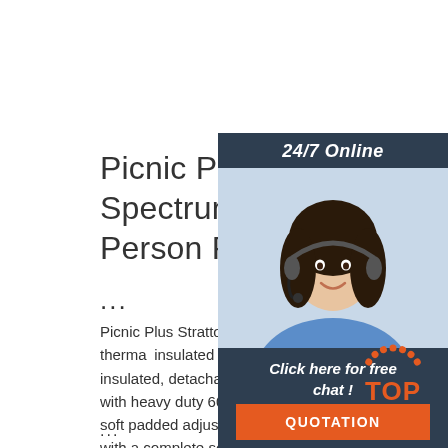Picnic Plus By Spectrum Stratton 4 Person Picnic Bac...
...
Picnic Plus Stratton 4 Person backpack has a large thermal insulated food compartment and thermal foil insulated, detachable 1 liter wine/beverage carriers. Made with heavy duty 600D polyester exterior shell and has two soft padded adjustable shoulder straps. The set comes with a complete set of 4: plates, acrylic goblets, cotton napkins, stainless steel flatware, bottle opener ...
[Figure (photo): Customer service agent with headset smiling, with 24/7 Online label, Click here for free chat text, and QUOTATION button on dark navy overlay panel]
[Figure (logo): TOP badge with orange circular dotted arc and orange TOP text]